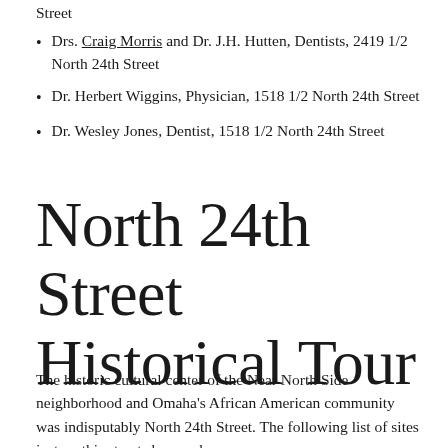Street
Drs. Craig Morris and Dr. J.H. Hutten, Dentists, 2419 1/2 North 24th Street
Dr. Herbert Wiggins, Physician, 1518 1/2 North 24th Street
Dr. Wesley Jones, Dentist, 1518 1/2 North 24th Street
North 24th Street Historical Tour
The historic cultural center of the Near North Side neighborhood and Omaha's African American community was indisputably North 24th Street. The following list of sites just on this street shows why.